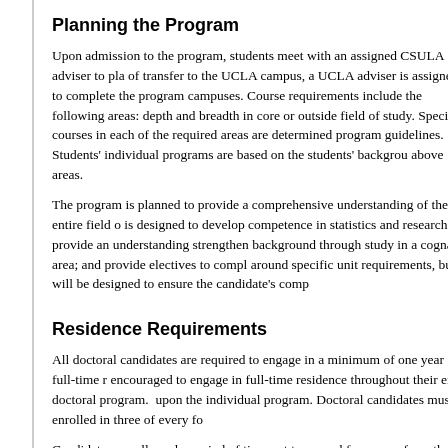Planning the Program
Upon admission to the program, students meet with an assigned CSULA adviser to pla... of transfer to the UCLA campus, a UCLA adviser is assigned to complete the program campuses. Course requirements include the following areas: depth and breadth in core or outside field of study. Specific courses in each of the required areas are determined program guidelines. Students' individual programs are based on the students' backgrou above areas.
The program is planned to provide a comprehensive understanding of the entire field o is designed to develop competence in statistics and research; provide an understanding strengthen background through study in a cognate area; and provide electives to compl around specific unit requirements, but will be designed to ensure the candidate's comp
Residence Requirements
All doctoral candidates are required to engage in a minimum of one year of full-time r encouraged to engage in full-time residence throughout their entire doctoral program. upon the individual program. Doctoral candidates must be enrolled in three of every fo
Candidates are allowed a period of time not to exceed four years from the beginning o additional years from advancement to candidacy to completion of the dissertation.
Doctoral Written Qualifying Examination
After the qualifying examination has been recommended by the student...